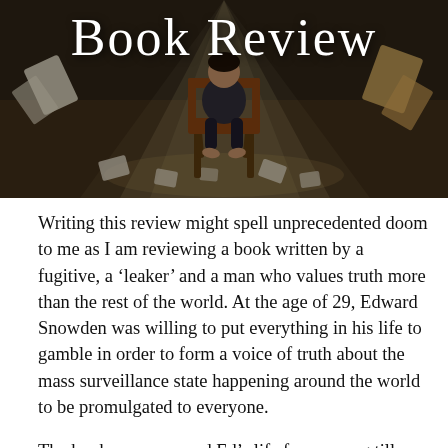[Figure (photo): Banner image showing a person sitting barefoot on a wooden chair outdoors, with papers flying around, overlaid with 'Book Review' in script font]
Writing this review might spell unprecedented doom to me as I am reviewing a book written by a fugitive, a 'leaker' and a man who values truth more than the rest of the world. At the age of 29, Edward Snowden was willing to put everything in his life to gamble in order to form a voice of truth about the mass surveillance state happening around the world to be promulgated to everyone.
The book encompassed Ed's life from young till present (2018-ish). His childhood days are akin to a hacker's, as Edward defined hacking as an action taken to bypass a system...